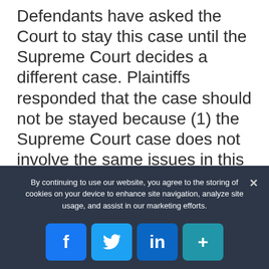Defendants have asked the Court to stay this case until the Supreme Court decides a different case. Plaintiffs responded that the case should not be stayed because (1) the Supreme Court case does not involve the same issues in this case; and (2) delaying the case will be harmful to both Plaintiffs (drivers who have already joined the case) and drivers who are similarly situated but have not received notice of their rights and the opportunity to join this case. You can view the Plaintiffs' argument here: Plaintiffs' Response to Defendants'
By continuing to use our website, you agree to the storing of cookies on your device to enhance site navigation, analyze site usage, and assist in our marketing efforts.
[Figure (infographic): Social sharing buttons: Facebook (f), Twitter (bird), LinkedIn (in), and a plus/share button, displayed in a row on a dark background cookie consent bar.]